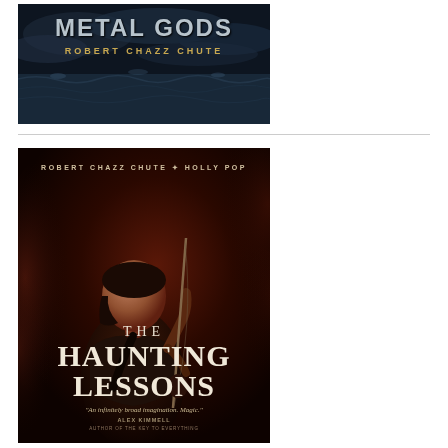[Figure (illustration): Book cover for 'Metal Gods' by Robert Chazz Chute. Dark oceanic/stormy scene with metallic title text and author name in gold lettering on a dark blue-grey background.]
[Figure (illustration): Book cover for 'The Haunting Lessons' by Robert Chazz Chute and Holly Pop. Dark red-brown background with a woman holding a bow, large serif title text, and a quote: 'An infinitely broad imagination. Magic.' by Alex Kimmell, author of The Key to Everything.]